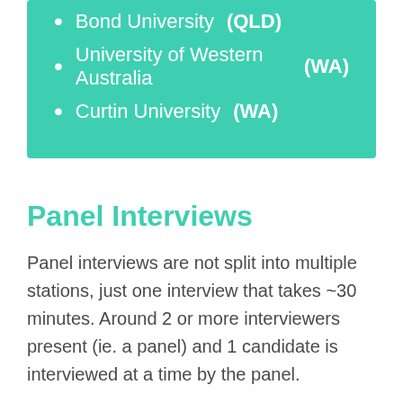Bond University (QLD)
University of Western Australia (WA)
Curtin University (WA)
Panel Interviews
Panel interviews are not split into multiple stations, just one interview that takes ~30 minutes. Around 2 or more interviewers present (ie. a panel) and 1 candidate is interviewed at a time by the panel.
The data shown pertains to...